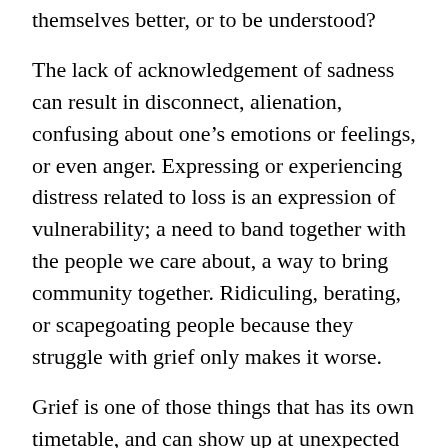themselves better, or to be understood?
The lack of acknowledgement of sadness can result in disconnect, alienation, confusing about one's emotions or feelings, or even anger. Expressing or experiencing distress related to loss is an expression of vulnerability; a need to band together with the people we care about, a way to bring community together. Ridiculing, berating, or scapegoating people because they struggle with grief only makes it worse.
Grief is one of those things that has its own timetable, and can show up at unexpected times. There is no right way to go about it, and everyone has their own process to work through. I can't tell you how many people I talk to each week that are fearful of showing or expressing emotion in public, and avoid being in public because they might become anxious or upset.
It seems unfortunate to me that so much of our